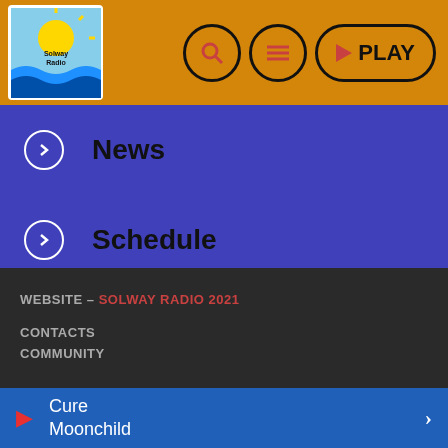[Figure (logo): Solway Radio logo with sun and waves]
News
Schedule
Listen again
Community
Contacts
WEBSITE - SOLWAY RADIO 2021
CONTACTS
COMMUNITY
Cure
Moonchild